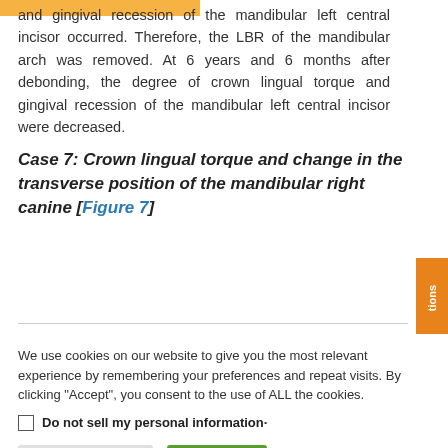and gingival recession of the mandibular left central incisor occurred. Therefore, the LBR of the mandibular arch was removed. At 6 years and 6 months after debonding, the degree of crown lingual torque and gingival recession of the mandibular left central incisor were decreased.
Case 7: Crown lingual torque and change in the transverse position of the mandibular right canine [Figure 7]
We use cookies on our website to give you the most relevant experience by remembering your preferences and repeat visits. By clicking "Accept", you consent to the use of ALL the cookies.
Do not sell my personal information